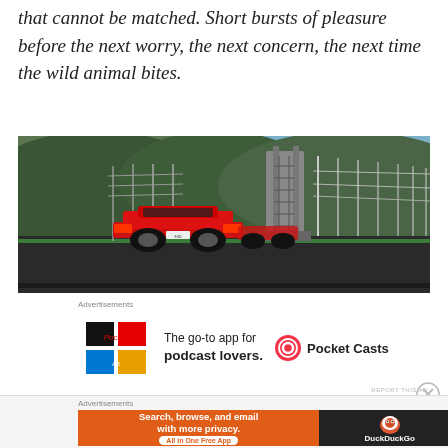that cannot be matched. Short bursts of pleasure before the next worry, the next concern, the next time the wild animal bites.
[Figure (photo): A red sports car (Ferrari F40) seen from behind on a racing circuit track, with green hillside and metal fencing/barriers in the background. The scene appears to be from a racing video game simulation.]
Advertisements
[Figure (infographic): Pocket Casts advertisement: colorful app icon on the left, text reading 'The go-to app for podcast lovers.' in the center, and Pocket Casts logo and name on the right.]
REPORT THIS AD
Advertisements
[Figure (infographic): DuckDuckGo advertisement with orange background on left reading 'Search, browse, and email with more privacy. All in One Free App' and dark background on right with DuckDuckGo duck logo and name.]